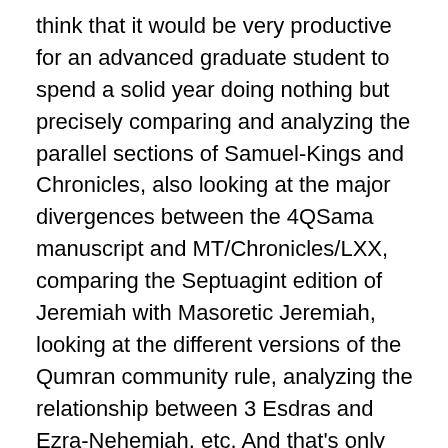think that it would be very productive for an advanced graduate student to spend a solid year doing nothing but precisely comparing and analyzing the parallel sections of Samuel-Kings and Chronicles, also looking at the major divergences between the 4QSama manuscript and MT/Chronicles/LXX, comparing the Septuagint edition of Jeremiah with Masoretic Jeremiah, looking at the different versions of the Qumran community rule, analyzing the relationship between 3 Esdras and Ezra-Nehemiah, etc. And that's only looking at Hebrew and Greek resources! Adding non-biblical resources, especially different editions of Mesopotamian materials adds a whole additional and often informative dimension. The more one does this, the more one gets a gut-level sense of how texts grew. And you get a lot more humility about what we do if you constantly ask the question, “would I have been able to